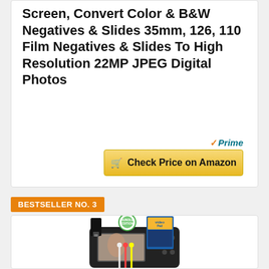Screen, Convert Color & B&W Negatives & Slides 35mm, 126, 110 Film Negatives & Slides To High Resolution 22MP JPEG Digital Photos
[Figure (other): Amazon Prime badge with orange checkmark and blue italic text]
[Figure (other): Yellow Amazon 'Check Price on Amazon' button with shopping cart icon]
BESTSELLER NO. 3
[Figure (photo): Product photo of a black video capture device with USB, bundle edition badge, VideoPad software box, and RCA cables]